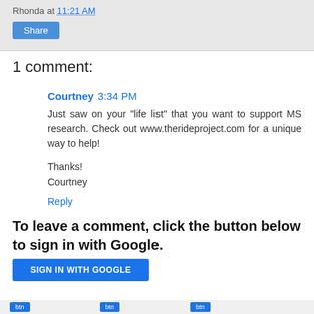Rhonda at 11:21 AM
Share
1 comment:
Courtney 3:34 PM
Just saw on your "life list" that you want to support MS research. Check out www.therideproject.com for a unique way to help!

Thanks!
Courtney
Reply
To leave a comment, click the button below to sign in with Google.
SIGN IN WITH GOOGLE